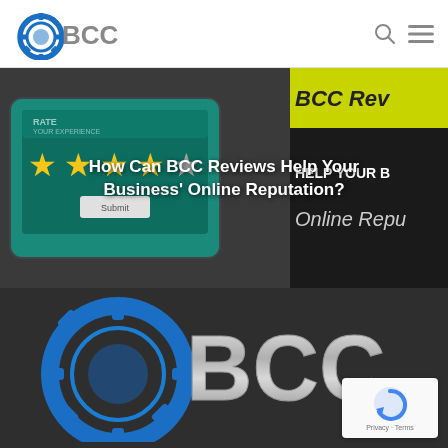[Figure (logo): BCC logo with blue gear icon and silver BCC lettering in the navigation header]
[Figure (screenshot): Website screenshot showing a hero banner image with a tablet displaying a star rating/review interface on the left, and text overlay on a dark background with yellow accent banner reading partial BCC Reviews text. Overlaid white bold text reads: How Can BCC Reviews Help Your Business' Online Reputation?]
How Can BCC Reviews Help Your Business’ Online Reputation?
[Figure (logo): Large BCC logo on dark background — blue gear icon with silver/chrome BCC lettering, shown in lower half of page]
[Figure (other): Google reCAPTCHA badge widget in lower right corner showing reCAPTCHA icon and Privacy - Terms text]